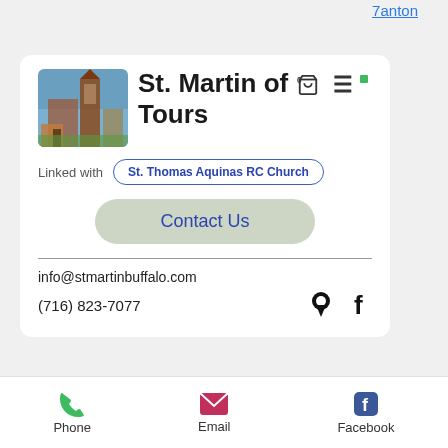7anton
St. Martin of Tours
Linked with St. Thomas Aquinas RC Church
Contact Us
info@stmartinbuffalo.com
(716) 823-7077
Phone   Email   Facebook